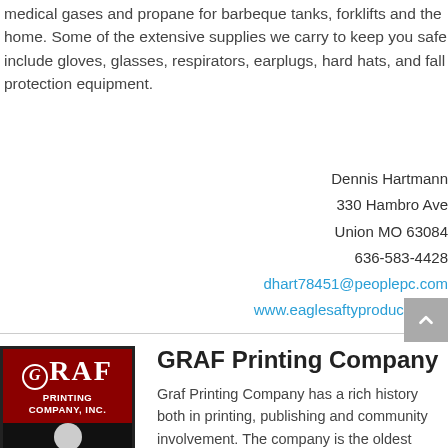medical gases and propane for barbeque tanks, forklifts and the home. Some of the extensive supplies we carry to keep you safe include gloves, glasses, respirators, earplugs, hard hats, and fall protection equipment.
Dennis Hartmann
330 Hambro Ave
Union MO 63084
636-583-4428
dhart78451@peoplepc.com
www.eaglesaftyproducts.com
[Figure (logo): Graf Printing Company Inc. logo — red background with white serif GRAF text, black box below with gray circle, FINE PRINTING text]
GRAF Printing Company
Graf Printing Company has a rich history both in printing, publishing and community involvement. The company is the oldest continuous business in Hermann and is located in the Industrial Park in Hermann.